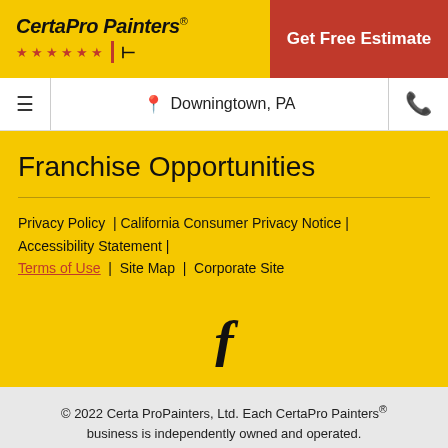[Figure (logo): CertaPro Painters logo with yellow background, red stars and red/black brand mark, alongside a red 'Get Free Estimate' call-to-action button]
Downingtown, PA
Franchise Opportunities
Privacy Policy | California Consumer Privacy Notice | Accessibility Statement | Terms of Use | Site Map | Corporate Site
[Figure (logo): Facebook 'f' icon in dark color on yellow background]
© 2022 Certa ProPainters, Ltd. Each CertaPro Painters® business is independently owned and operated. License Info: Home Improvement Contractor Registration Number PA152729